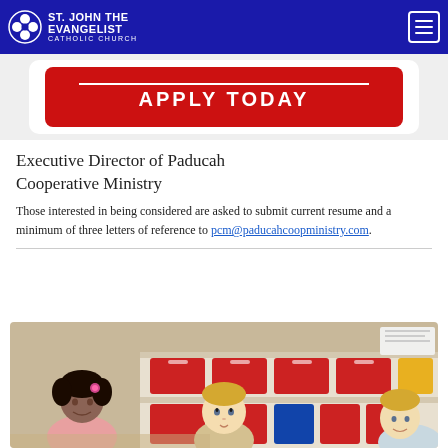St. John the Evangelist Catholic Church
[Figure (other): Apply Today button banner with red rounded rectangle background and white text reading APPLY TODAY]
Executive Director of Paducah Cooperative Ministry
Those interested in being considered are asked to submit current resume and a minimum of three letters of reference to pcm@paducahcoopministry.com.
[Figure (photo): Children sitting around a table in a classroom with colorful red bins on shelves in the background]